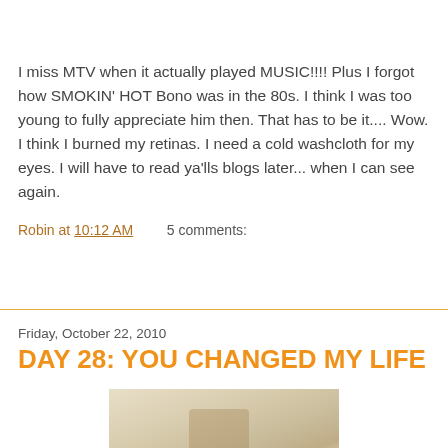I miss MTV when it actually played MUSIC!!!! Plus I forgot how SMOKIN' HOT Bono was in the 80s. I think I was too young to fully appreciate him then. That has to be it.... Wow. I think I burned my retinas. I need a cold washcloth for my eyes. I will have to read ya'lls blogs later... when I can see again.
Robin at 10:12 AM    5 comments:
Friday, October 22, 2010
DAY 28: YOU CHANGED MY LIFE
[Figure (photo): A photo showing a sandy beach surface with what appears to be a small object (possibly a bottle or shell) resting on the sand.]